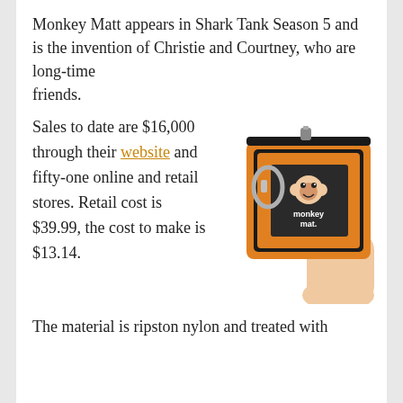Monkey Matt appears in Shark Tank Season 5 and is the invention of Christie and Courtney, who are long-time friends.
Sales to date are $16,000 through their website and fifty-one online and retail stores. Retail cost is $39.99, the cost to make is $13.14.
[Figure (photo): Hand holding an orange Monkey Mat product (a small zippered pouch with a carabiner clip and the Monkey Mat logo on a dark square patch)]
The material is ripston nylon and treated with